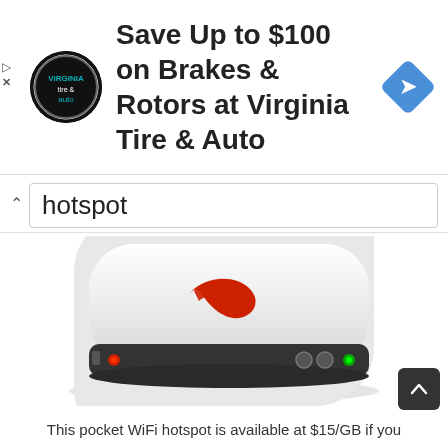[Figure (screenshot): Advertisement banner for Virginia Tire & Auto showing logo, text 'Save Up to $100 on Brakes & Rotors at Virginia Tire & Auto', and a blue diamond navigation icon]
hotspot
[Figure (photo): Pocket WiFi hotspot device - white rounded square device with red Verizon logo on top, dark band around edges, red LED on left side, two circular buttons and green LED on right side]
This pocket WiFi hotspot is available at $15/GB if you